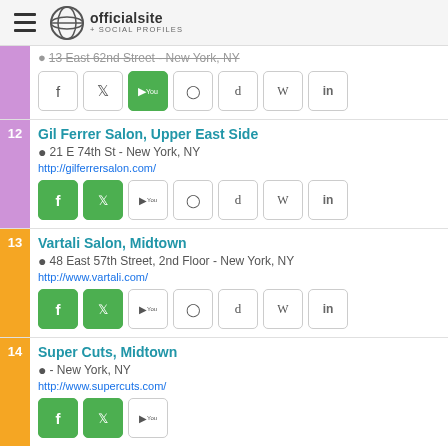officialsite + SOCIAL PROFILES
13 East 62nd Street - New York, NY (partial, item 11)
12 Gil Ferrer Salon, Upper East Side | 21 E 74th St - New York, NY | http://gilferrersalon.com/
13 Vartali Salon, Midtown | 48 East 57th Street, 2nd Floor - New York, NY | http://www.vartali.com/
14 Super Cuts, Midtown | - New York, NY | http://www.supercuts.com/